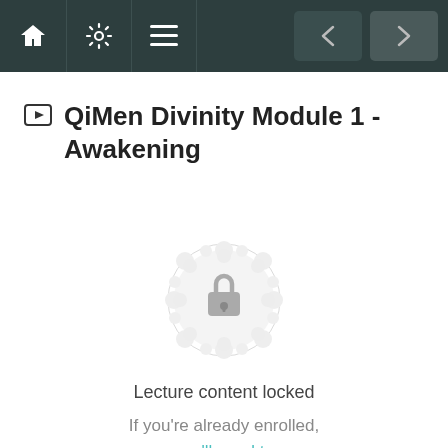Navigation bar with home, settings, menu icons and prev/next buttons
QiMen Divinity Module 1 - Awakening
[Figure (illustration): Decorative mandala/flower-of-life circular pattern in light gray with a padlock icon in the center, indicating locked content]
Lecture content locked
If you're already enrolled, you'll need to login.